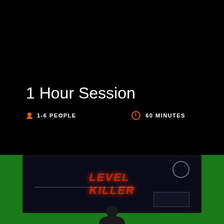1 Hour Session
1-6 PEOPLE
60 MINUTES
Book now
[Figure (photo): Gaming setup photo showing a monitor displaying a game with 'LEVEL KILLER' text, green illuminated background, and a person seated in front of the monitor]